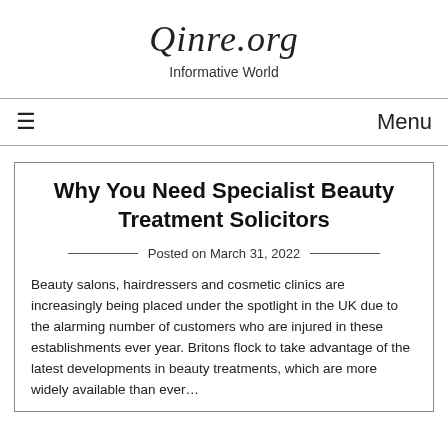Qinre.org
Informative World
Why You Need Specialist Beauty Treatment Solicitors
Posted on March 31, 2022
Beauty salons, hairdressers and cosmetic clinics are increasingly being placed under the spotlight in the UK due to the alarming number of customers who are injured in these establishments ever year. Britons flock to take advantage of the latest developments in beauty treatments, which are more widely available than ever…